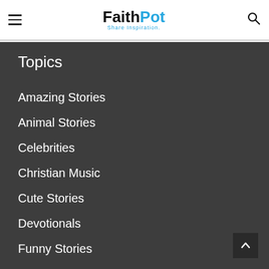FaithPot — Share Inspiration.
Topics
Amazing Stories
Animal Stories
Celebrities
Christian Music
Cute Stories
Devotionals
Funny Stories
Heartwarming Stories
News